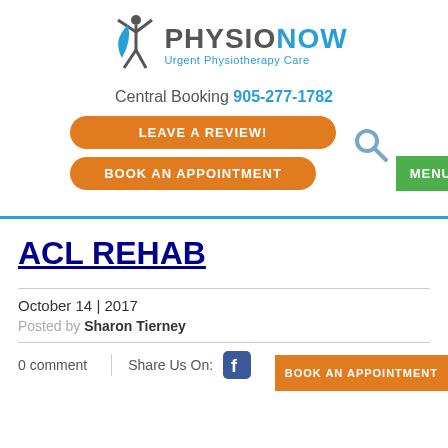[Figure (logo): PhysioNow logo with stylized figure and text 'PHYSIONOW Urgent Physiotherapy Care']
Central Booking 905-277-1782
LEAVE A REVIEW!
BOOK AN APPOINTMENT
MENU
ACL REHAB
October 14 | 2017
Posted by Sharon Tierney
0 comment
Share Us On:
BOOK AN APPOINTMENT